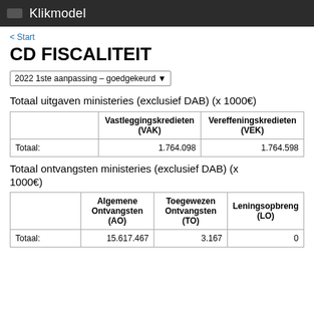Klikmodel
< Start
CD FISCALITEIT
2022 1ste aanpassing – goedgekeurd
Totaal uitgaven ministeries (exclusief DAB) (x 1000€)
|  | Vastleggingskredieten (VAK) | Vereffeningskredieten (VEK) |
| --- | --- | --- |
| Totaal: | 1.764.098 | 1.764.598 |
Totaal ontvangsten ministeries (exclusief DAB) (x 1000€)
|  | Algemene Ontvangsten (AO) | Toegewezen Ontvangsten (TO) | Leningsopbreng (LO) |
| --- | --- | --- | --- |
| Totaal: | 15.617.467 | 3.167 | 0 |